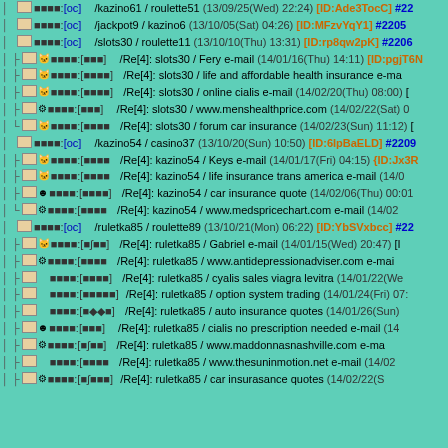■ ■■■■:[oc] /kazino61 / roulette51 (13/09/25(Wed) 22:24) [ID:Ade3TocC] #22
■ ■■■■:[oc] /jackpot9 / kazino6 (13/10/05(Sat) 04:26) [ID:MFzvYqY1] #2205
■ ■■■■:[oc] /slots30 / roulette11 (13/10/10(Thu) 13:31) [ID:rp8qw2pK] #2206
├■♥ ■■■■:[■■■] /Re[4]: slots30 / Fery e-mail (14/01/16(Thu) 14:11) [ID:pgjT6N
├■♥ ■■■■:[■■■■] /Re[4]: slots30 / life and affordable health insurance e-ma
├■♥ ■■■■:[■■■■] /Re[4]: slots30 / online cialis e-mail (14/02/20(Thu) 08:00) [
├■☆ ■■■■:[■■■] /Re[4]: slots30 / www.menshealthprice.com (14/02/22(Sat) 0
└■♥ ■■■■:[■■■■ /Re[4]: slots30 / forum car insurance (14/02/23(Sun) 11:12) [
■ ■■■■:[oc] /kazino54 / casino37 (13/10/20(Sun) 10:50) [ID:6IpBaELD] #2209
├■♥ ■■■■:[■■■■ /Re[4]: kazino54 / Keys e-mail (14/01/17(Fri) 04:15) {ID:Jx3R
├■♥ ■■■■:[■■■■ /Re[4]: kazino54 / life insurance trans america e-mail (14/0
├■☻ ■■■■:[■■■■] /Re[4]: kazino54 / car insurance quote (14/02/06(Thu) 00:01
└■☆ ■■■■:[■■■■ /Re[4]: kazino54 / www.medspricechart.com e-mail (14/02
■ ■■■■:[oc] /ruletka85 / roulette89 (13/10/21(Mon) 06:22) [ID:YbSVxbcc] #22
├■♥ ■■■■:[■∫■■] /Re[4]: ruletka85 / Gabriel e-mail (14/01/15(Wed) 20:47) [I
├■☆ ■■■■:[■■■■ /Re[4]: ruletka85 / www.antidepressionadviser.com e-mai
├■ ■■■■:[■■■■] /Re[4]: ruletka85 / cyalis sales viagra levitra (14/01/22(We
├■ ■■■■:[■■■■■] /Re[4]: ruletka85 / option system trading (14/01/24(Fri) 07:
├■ ■■■■:[■◆◆■] /Re[4]: ruletka85 / auto insurance quotes (14/01/26(Sun)
├■☻ ■■■■:[■■■] /Re[4]: ruletka85 / cialis no prescription needed e-mail (14
├■☆ ■■■■:[■∫■■] /Re[4]: ruletka85 / www.maddonnasnashville.com e-ma
├■ ■■■■:[■■■■ /Re[4]: ruletka85 / www.thesuninmotion.net e-mail (14/02
├■☆ ■■■■:[■∫■■■] /Re[4]: ruletka85 / car insurasance quotes (14/02/22(S